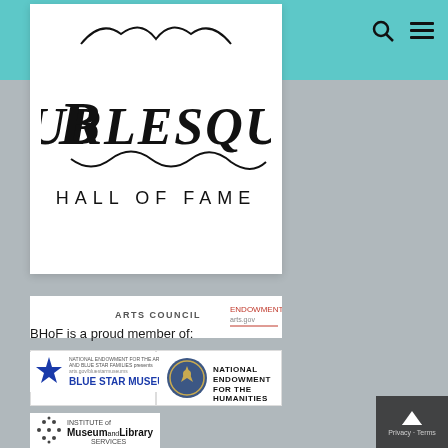[Figure (logo): Burlesque Hall of Fame logo — decorative text on white card]
[Figure (logo): Nevada Arts Council and National Endowment for the Arts sponsor strip]
[Figure (logo): Nevada Humanities logo]
[Figure (logo): National Endowment for the Humanities logo with eagle seal]
[Figure (logo): Institute of Museum and Library Services logo]
BHoF is a proud member of:
[Figure (logo): Blue Star Museums logo — National Endowment for the Arts and Blue Star Families presents]